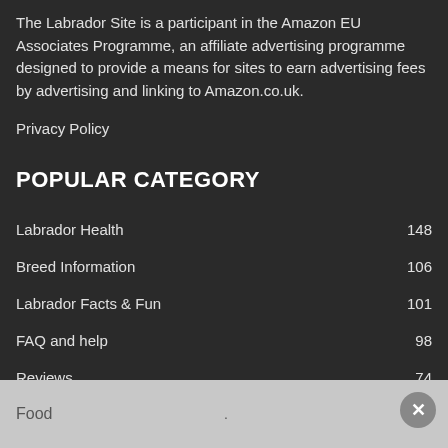The Labrador Site is a participant in the Amazon EU Associates Programme, an affiliate advertising programme designed to provide a means for sites to earn advertising fees by advertising and linking to Amazon.co.uk.
Privacy Policy
POPULAR CATEGORY
Labrador Health 148
Breed Information 106
Labrador Facts & Fun 101
FAQ and help 98
Reviews 74
Labrador Training Articles 71
Food